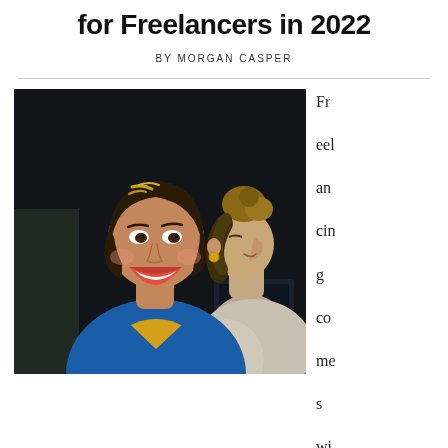for Freelancers in 2022
BY MORGAN CASPER
[Figure (photo): Two smiling women in a professional setting; the foreground woman wears a blue blazer and has short hair with highlights, the background woman has her hair up in a bun and wears a gold earring.]
Freelancing comes with